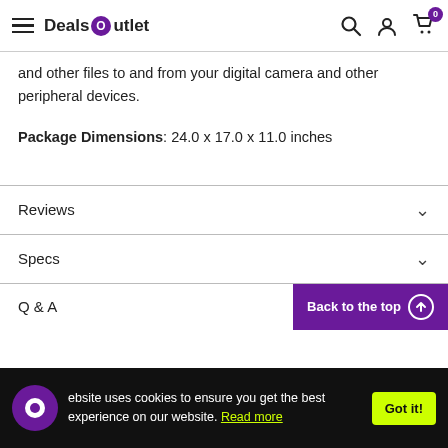Deals Outlet — navigation header with hamburger, logo, search, account, cart icons
and other files to and from your digital camera and other peripheral devices.
Package Dimensions: 24.0 x 17.0 x 11.0 inches
Reviews
Specs
Q & A
This website uses cookies to ensure you get the best experience on our website. Read more